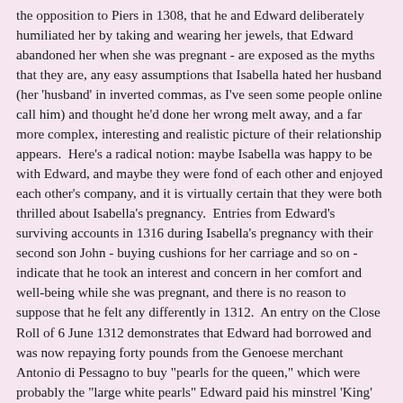the opposition to Piers in 1308, that he and Edward deliberately humiliated her by taking and wearing her jewels, that Edward abandoned her when she was pregnant - are exposed as the myths that they are, any easy assumptions that Isabella hated her husband (her 'husband' in inverted commas, as I've seen some people online call him) and thought he'd done her wrong melt away, and a far more complex, interesting and realistic picture of their relationship appears.  Here's a radical notion: maybe Isabella was happy to be with Edward, and maybe they were fond of each other and enjoyed each other's company, and it is virtually certain that they were both thrilled about Isabella's pregnancy.  Entries from Edward's surviving accounts in 1316 during Isabella's pregnancy with their second son John - buying cushions for her carriage and so on - indicate that he took an interest and concern in her comfort and well-being while she was pregnant, and there is no reason to suppose that he felt any differently in 1312.  An entry on the Close Roll of 6 June 1312 demonstrates that Edward had borrowed and was now repaying forty pounds from the Genoese merchant Antonio di Pessagno to buy "pearls for the queen," which were probably the "large white pearls" Edward paid his minstrel 'King' Robert two pounds to bring to him on 25 April that year.  Given the timing, around two months after the future Edward III must have been conceived, the pearls were likely a love token Edward li...